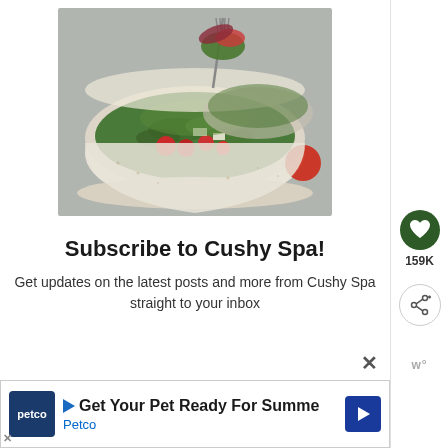[Figure (photo): A ceramic speckled bowl filled with a fresh salad including cherry tomatoes, greens, cucumber, and cheese, with a fork lifting a portion above the bowl. Background shows another bowl and blurred gray surface.]
Subscribe to Cushy Spa!
Get updates on the latest posts and more from Cushy Spa straight to your inbox
[Figure (infographic): Right sidebar with a dark green circular heart/like button showing 159K count below it, and a circular share button below that.]
[Figure (infographic): Bottom advertisement bar for Petco: 'Get Your Pet Ready For Summe' with Petco logo and blue arrow button. An X close button appears to the right.]